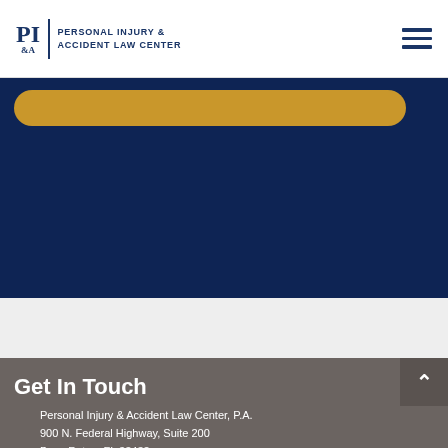PI&A Personal Injury & Accident Law Center
[Figure (screenshot): Dark navy blue background section with gold rounded button bar near top]
Get In Touch
Personal Injury & Accident Law Center, P.A.
900 N. Federal Highway, Suite 200
Boca Raton, FL 33432